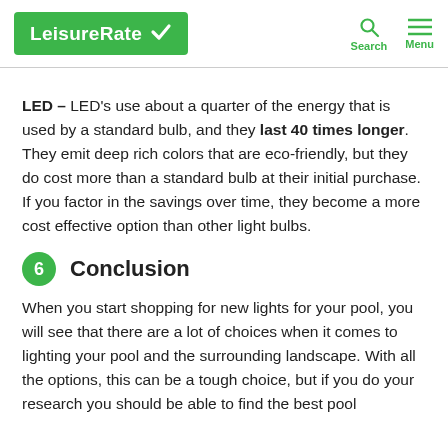LeisureRate | Search | Menu
LED – LED's use about a quarter of the energy that is used by a standard bulb, and they last 40 times longer. They emit deep rich colors that are eco-friendly, but they do cost more than a standard bulb at their initial purchase. If you factor in the savings over time, they become a more cost effective option than other light bulbs.
6 Conclusion
When you start shopping for new lights for your pool, you will see that there are a lot of choices when it comes to lighting your pool and the surrounding landscape. With all the options, this can be a tough choice, but if you do your research you should be able to find the best pool